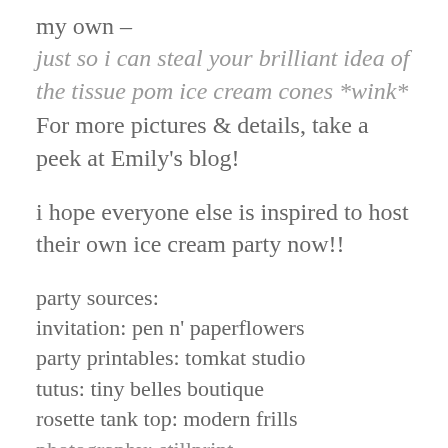my own –
just so i can steal your brilliant idea of the tissue pom ice cream cones *wink*
For more pictures & details, take a peek at Emily's blog!
i hope everyone else is inspired to host their own ice cream party now!!
party sources:
invitation: pen n' paperflowers
party printables: tomkat studio
tutus: tiny belles boutique
rosette tank top: modern frills
photography: stillprint